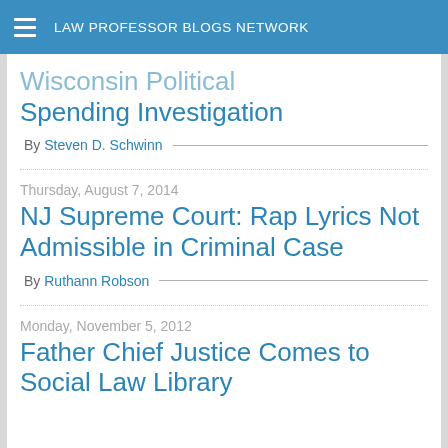LAW PROFESSOR BLOGS NETWORK
Wisconsin Political Spending Investigation
By Steven D. Schwinn
Thursday, August 7, 2014
NJ Supreme Court: Rap Lyrics Not Admissible in Criminal Case
By Ruthann Robson
Monday, November 5, 2012
Father Chief Justice Comes to Social Law Library